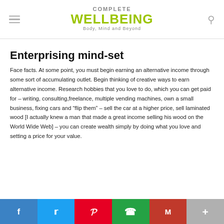COMPLETE WELLBEING Body, Mind and Beyond
Enterprising mind-set
Face facts. At some point, you must begin earning an alternative income through some sort of accumulating outlet. Begin thinking of creative ways to earn alternative income. Research hobbies that you love to do, which you can get paid for – writing, consulting,freelance, multiple vending machines, own a small business, fixing cars and “flip them” – sell the car at a higher price, sell laminated wood [I actually knew a man that made a great income selling his wood on the World Wide Web] – you can create wealth simply by doing what you love and setting a price for your value.
Social share bar: Facebook, Twitter, Pinterest, WhatsApp, Gmail, More